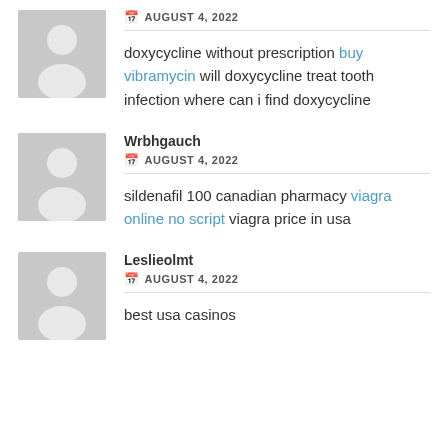[Figure (illustration): Generic user avatar placeholder (gray background with white person silhouette), first entry]
AUGUST 4, 2022
doxycycline without prescription buy vibramycin will doxycycline treat tooth infection where can i find doxycycline
[Figure (illustration): Generic user avatar placeholder (gray background with white person silhouette), second entry]
Wrbhgauch
AUGUST 4, 2022
sildenafil 100 canadian pharmacy viagra online no script viagra price in usa
[Figure (illustration): Generic user avatar placeholder (gray background with white person silhouette), third entry]
Leslieolmt
AUGUST 4, 2022
best usa casinos